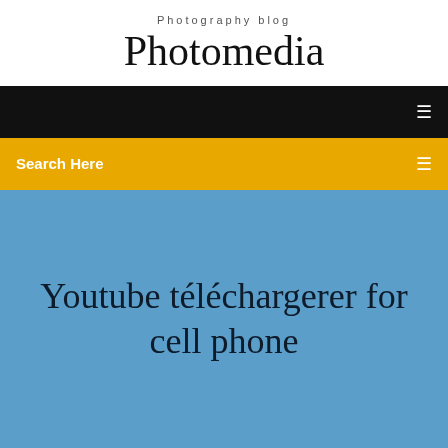Photography blog
Photomedia
[Figure (screenshot): Black navigation bar with a white menu icon on the right]
Search Here
Youtube téléchargerer for cell phone